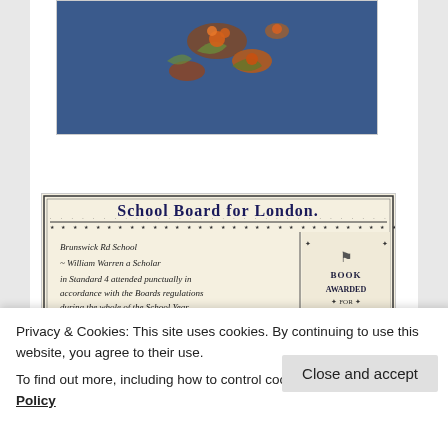[Figure (photo): Blue decorative book cover with floral pattern (orange flowers on blue background)]
[Figure (photo): School Board for London attendance certificate. Handwritten text: 'Brunswick Rd School, William Warren a Scholar in Standard 4 attended punctually in accordance with the Boards regulations during the whole of the School Year ended 31 Aug 1896. J Simmonds Head Teacher.' Right panel: 'BOOK AWARDED FOR PUNCTUAL AND REGULAR ATTENDANCE']
Privacy & Cookies: This site uses cookies. By continuing to use this website, you agree to their use.
To find out more, including how to control cookies, see here: Cookie Policy
[Figure (photo): Partial view of book spine showing 'ORIGIN' text in gold lettering]